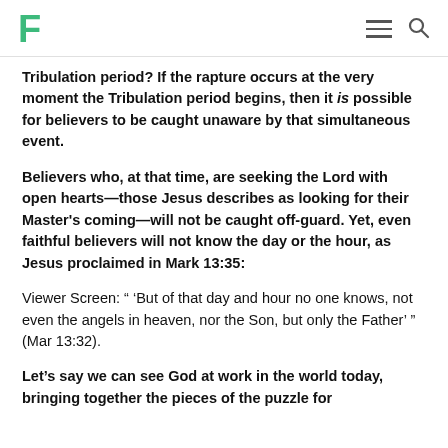F [logo] [hamburger menu] [search icon]
Tribulation period? If the rapture occurs at the very moment the Tribulation period begins, then it is possible for believers to be caught unaware by that simultaneous event.
Believers who, at that time, are seeking the Lord with open hearts—those Jesus describes as looking for their Master's coming—will not be caught off-guard. Yet, even faithful believers will not know the day or the hour, as Jesus proclaimed in Mark 13:35:
Viewer Screen: " 'But of that day and hour no one knows, not even the angels in heaven, nor the Son, but only the Father' " (Mar 13:32).
Let's say we can see God at work in the world today, bringing together the pieces of the puzzle for